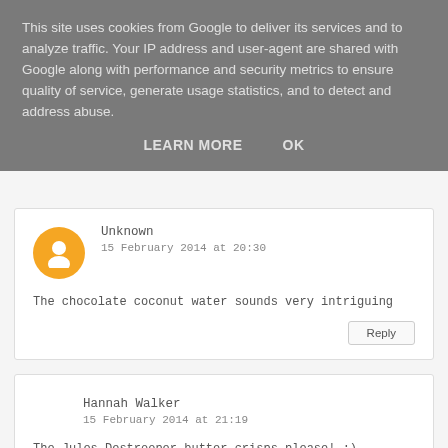This site uses cookies from Google to deliver its services and to analyze traffic. Your IP address and user-agent are shared with Google along with performance and security metrics to ensure quality of service, generate usage statistics, and to detect and address abuse.
LEARN MORE   OK
Unknown
15 February 2014 at 20:30
The chocolate coconut water sounds very intriguing
Reply
Hannah Walker
15 February 2014 at 21:19
The Jules Destrooper butter crisps please! :)